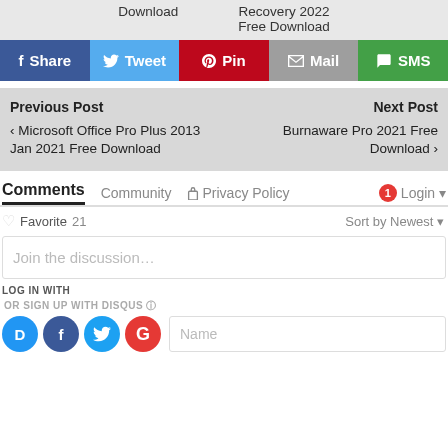Download    Recovery 2022 Free Download
f Share  Tweet  Pin  Mail  SMS
Previous Post
‹ Microsoft Office Pro Plus 2013 Jan 2021 Free Download
Next Post
Burnaware Pro 2021 Free Download ›
Comments  Community  Privacy Policy  1 Login
♡ Favorite  21    Sort by Newest
Join the discussion…
LOG IN WITH
OR SIGN UP WITH DISQUS ?
Name